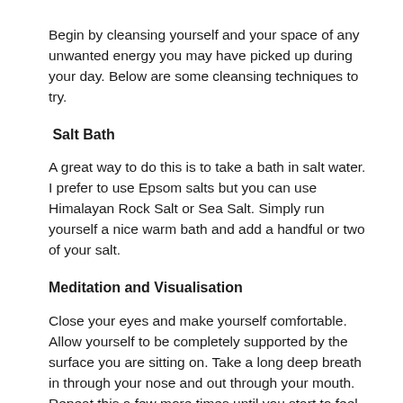Begin by cleansing yourself and your space of any unwanted energy you may have picked up during your day. Below are some cleansing techniques to try.
Salt Bath
A great way to do this is to take a bath in salt water. I prefer to use Epsom salts but you can use Himalayan Rock Salt or Sea Salt. Simply run yourself a nice warm bath and add a handful or two of your salt.
Meditation and Visualisation
Close your eyes and make yourself comfortable. Allow yourself to be completely supported by the surface you are sitting on. Take a long deep breath in through your nose and out through your mouth. Repeat this a few more times until you start to feel nice and relaxed. Visualise a beautiful golden ball of cleansing light above your head. As you breathe in this golden ball of light grows bright and...